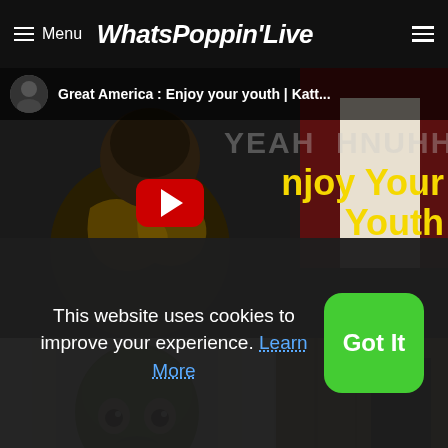Menu WhatsPoppin'Live
[Figure (screenshot): YouTube video thumbnail for 'Great America : Enjoy your youth | Katt...' showing a man in an ornate jacket with yellow text 'Enjoy Your Youth' and a YouTube play button]
[Figure (photo): Two video thumbnails side by side: left shows a green alien/mask face, right shows a person in a dark outfit]
This website uses cookies to improve your experience. Learn More
Got It